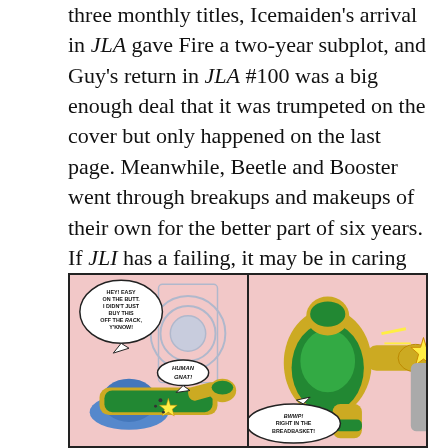three monthly titles, Icemaiden's arrival in JLA gave Fire a two-year subplot, and Guy's return in JLA #100 was a big enough deal that it was trumpeted on the cover but only happened on the last page. Meanwhile, Beetle and Booster went through breakups and makeups of their own for the better part of six years. If JLI has a failing, it may be in caring too much about these interactions at the expense of growing the series in other directions.
[Figure (illustration): Two comic book panels showing superhero characters in action. Left panel: A character in blue and yellow costume lying down with speech bubbles reading 'HEY! EASY ON THE BUTT. I DIDN'T JUST BUY THIS OFF THE RACK, Y'KNOW!' and 'HUMAN GNAT!' with impact effects. Right panel: A green and yellow armored character punching with speech bubble reading 'BWWP! RIGHT IN THE BREADBASKET!']